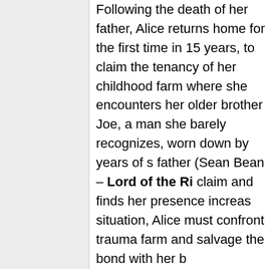Following the death of her father, Alice returns home for the first time in 15 years, to claim the tenancy of her childhood farm where she encounters her older brother Joe, a man she barely recognizes, worn down by years of struggle. The domineering father (Sean Bean – Lord of the Rings) had disputed Alice's claim and finds her presence increasingly threatening. In this situation, Alice must confront trauma rooted in the history of the farm and salvage the bond with her brother.
Combining the poetic realism of The Field and gothic menace, this is a dark folk tale of family secrets which looks set to become a classic of British drama.
Blu-ray Special Edition contents:
High Definition Blu-ray (1080p)
Original 5.1 DTS-HD Master Au
Optional English subtitles for th
Audio description track
Interviews with director Clio Barnard and actress Esme Creed-Miles
Behind the scenes
Stills gallery
Original trailer